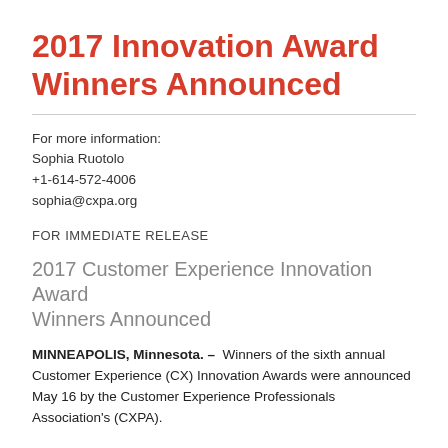2017 Innovation Award Winners Announced
For more information:
Sophia Ruotolo
+1-614-572-4006
sophia@cxpa.org
FOR IMMEDIATE RELEASE
2017 Customer Experience Innovation Award Winners Announced
MINNEAPOLIS, Minnesota. – Winners of the sixth annual Customer Experience (CX) Innovation Awards were announced May 16 by the Customer Experience Professionals Association's (CXPA).